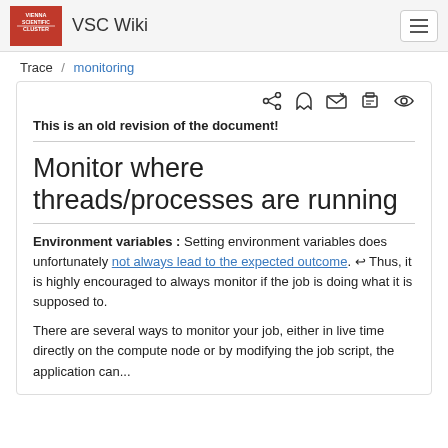VSC Wiki
Trace / monitoring
This is an old revision of the document!
Monitor where threads/processes are running
Environment variables : Setting environment variables does unfortunately not always lead to the expected outcome. ↩ Thus, it is highly encouraged to always monitor if the job is doing what it is supposed to.
There are several ways to monitor your job, either in live time directly on the compute node or by modifying the job script, the application can...